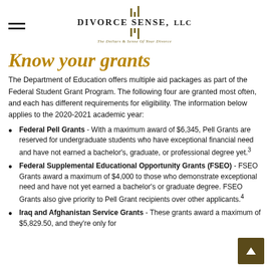Divorce Sense, LLC — The Dollars & Sense Of Your Divorce
Know your grants
The Department of Education offers multiple aid packages as part of the Federal Student Grant Program. The following four are granted most often, and each has different requirements for eligibility. The information below applies to the 2020-2021 academic year:
Federal Pell Grants - With a maximum award of $6,345, Pell Grants are reserved for undergraduate students who have exceptional financial need and have not earned a bachelor's, graduate, or professional degree yet.³
Federal Supplemental Educational Opportunity Grants (FSEO) - FSEO Grants award a maximum of $4,000 to those who demonstrate exceptional need and have not yet earned a bachelor's or graduate degree. FSEO Grants also give priority to Pell Grant recipients over other applicants.⁴
Iraq and Afghanistan Service Grants - These grants award a maximum of $5,829.50, and they're only for